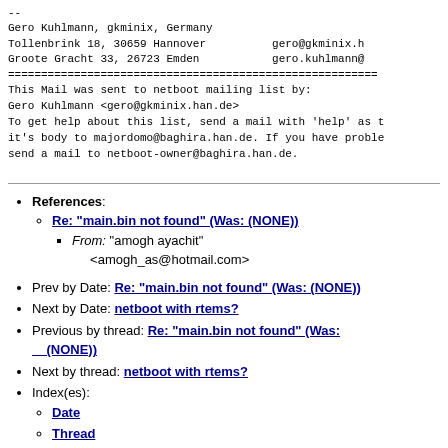--
Gero Kuhlmann, gkminix, Germany
Tollenbrink 18, 30659 Hannover                    gero@gkminix.h
Groote Gracht 33, 26723 Emden                     gero.kuhlmann@
========================================================
This Mail was sent to netboot mailing list by:
Gero Kuhlmann <gero@gkminix.han.de>
To get help about this list, send a mail with 'help' as t
it's body to majordomo@baghira.han.de. If you have proble
send a mail to netboot-owner@baghira.han.de.
References: Re: "main.bin not found" (Was: (NONE)) From: "amogh ayachit" <amogh_as@hotmail.com>
Prev by Date: Re: "main.bin not found" (Was: (NONE))
Next by Date: netboot with rtems?
Previous by thread: Re: "main.bin not found" (Was: (NONE))
Next by thread: netboot with rtems?
Index(es): Date, Thread